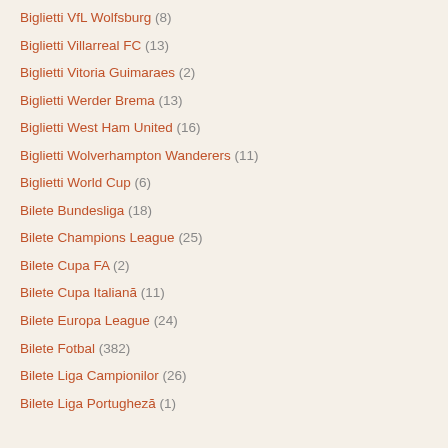Biglietti VfL Wolfsburg (8)
Biglietti Villarreal FC (13)
Biglietti Vitoria Guimaraes (2)
Biglietti Werder Brema (13)
Biglietti West Ham United (16)
Biglietti Wolverhampton Wanderers (11)
Biglietti World Cup (6)
Bilete Bundesliga (18)
Bilete Champions League (25)
Bilete Cupa FA (2)
Bilete Cupa Italiană (11)
Bilete Europa League (24)
Bilete Fotbal (382)
Bilete Liga Campionilor (26)
Bilete Liga Portugheză (1)